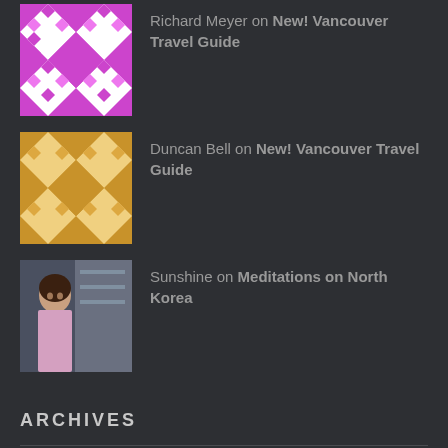Richard Meyer on New! Vancouver Travel Guide
Duncan Bell on New! Vancouver Travel Guide
Sunshine on Meditations on North Korea
ARCHIVES
July 2019
May 2019
January 2019
January 2018
August 2017